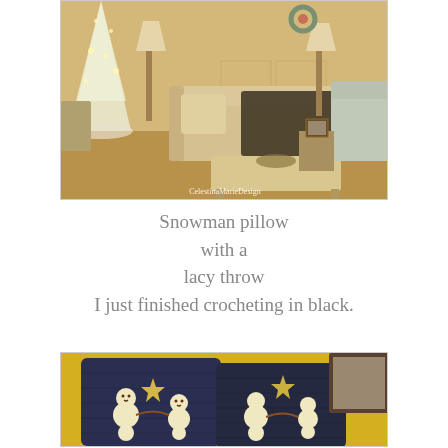[Figure (photo): Interior living room scene with a decorated Christmas tree, sofa, coffee table, and chairs. Warm sepia/gold tones. Watermark reads CelestinaMarieDesign.]
Snowman pillow
with a
lacy throw
I just finished crocheting in black.
[Figure (photo): Two dark navy blue crochet pillow covers on a yellow sofa, each featuring two snowman figures holding hands with a star between them. A framed picture is visible in the background.]